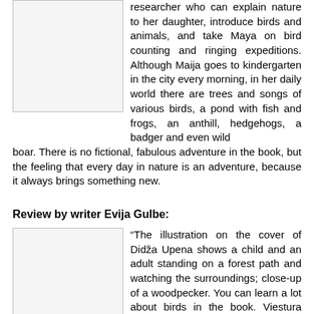[Figure (photo): Image placeholder (broken/missing image icon) in upper left, bordered box]
researcher who can explain nature to her daughter, introduce birds and animals, and take Maya on bird counting and ringing expeditions. Although Maija goes to kindergarten in the city every morning, in her daily world there are trees and songs of various birds, a pond with fish and frogs, an anthill, hedgehogs, a badger and even wild boar. There is no fictional, fabulous adventure in the book, but the feeling that every day in nature is an adventure, because it always brings something new.
Review by writer Evija Gulbe:
[Figure (photo): Image placeholder (broken/missing image icon) in lower left, bordered box]
“The illustration on the cover of Didža Upena shows a child and an adult standing on a forest path and watching the surroundings; close-up of a woodpecker. You can learn a lot about birds in the book. Viestura Ķerus’ experience in ornithology is an important value of the book’s content, but it is not a reference “it’s not a textbook of feathers which does not interest the